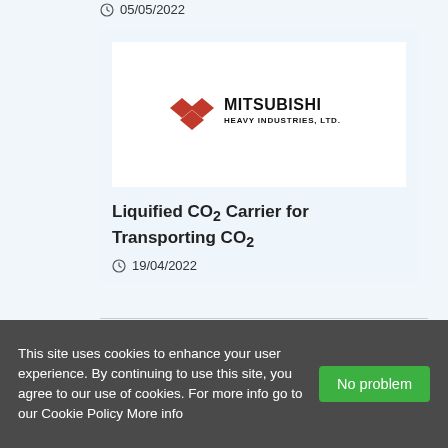05/05/2022
[Figure (logo): Mitsubishi Heavy Industries, Ltd. logo with red three-diamond symbol and black text]
Liquified CO₂ Carrier for Transporting CO₂
19/04/2022
This site uses cookies to enhance your user experience. By continuing to use this site, you agree to our use of cookies. For more info go to our Cookie Policy More info